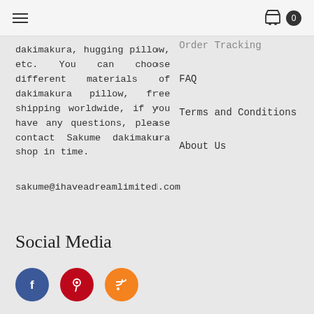☰   [cart icon] 0
dakimakura, hugging pillow, etc. You can choose different materials of dakimakura pillow, free shipping worldwide, if you have any questions, please contact Sakume dakimakura shop in time.
Order Tracking
FAQ
Terms and Conditions
About Us
sakume@ihaveadreamlimited.com
Social Media
[Figure (illustration): Three social media icon buttons: Facebook (blue circle with 'f'), Pinterest (red circle with 'p' pin icon), RSS (orange circle with RSS feed icon)]